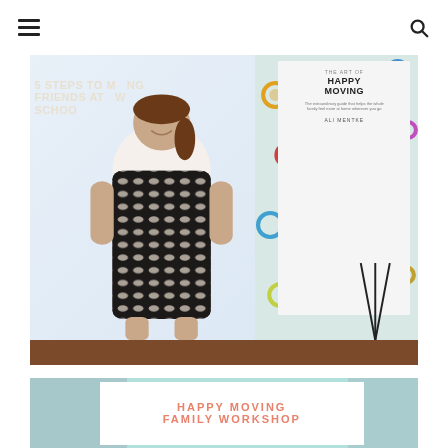Navigation menu and search icon
[Figure (photo): A woman in a black and white patterned sleeveless dress stands smiling in front of a projection screen showing '5 Steps to Making Friends at New School'. To her right is a poster/easel displaying 'The Art of Happy Moving' book by Ali Mentke. The wall behind has colorful circular dot decorations. The setting appears to be a family workshop or school presentation.]
[Figure (photo): A promotional graphic for 'Happy Moving Family Workshop' with text in coral/salmon color on a white card, set against a mint/teal background with what appears to be a room or building visible at the edges.]